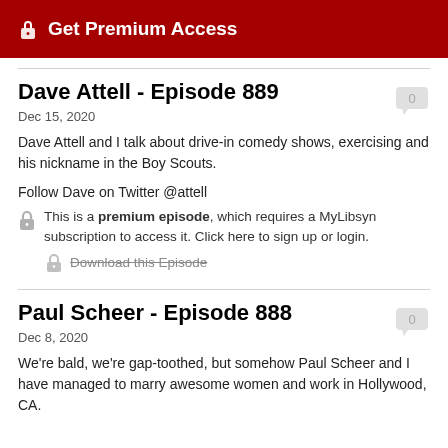Get Premium Access
Dave Attell - Episode 889
Dec 15, 2020
Dave Attell and I talk about drive-in comedy shows, exercising and his nickname in the Boy Scouts.
Follow Dave on Twitter @attell
This is a premium episode, which requires a MyLibsyn subscription to access it. Click here to sign up or login.
Download this Episode
Paul Scheer - Episode 888
Dec 8, 2020
We're bald, we're gap-toothed, but somehow Paul Scheer and I have managed to marry awesome women and work in Hollywood, CA.